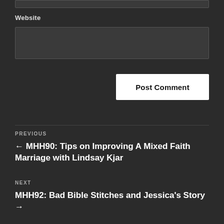Website
[Figure (screenshot): Website text input field (empty, dark background)]
Post Comment
PREVIOUS
← MHH90: Tips on Improving A Mixed Faith Marriage with Lindsay Kjar
NEXT
MHH92: Bad Bible Stitches and Jessica's Story →